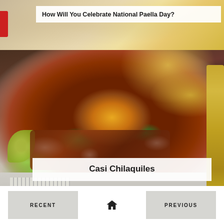[Figure (photo): Top banner image showing paella in a pan with a title overlay reading 'How Will You Celebrate National Paella Day?']
How Will You Celebrate National Paella Day?
[Figure (photo): Close-up photo of Chilaquiles dish on a gray plate with fried egg, crumbled cheese, cilantro, red onion, chorizo, and lime wedge, with a gold fork visible on the right side]
Casi Chilaquiles
RECENT | home icon | PREVIOUS